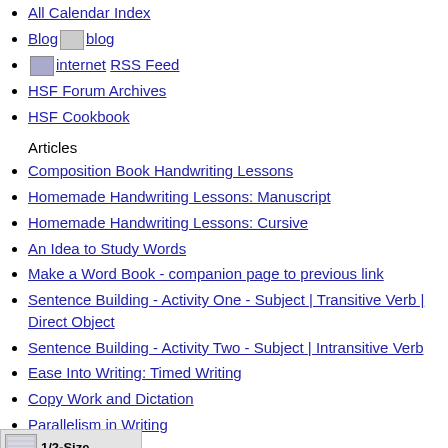All Calendar Index
Blog blog
internet RSS Feed
HSF Forum Archives
HSF Cookbook
Articles
Composition Book Handwriting Lessons
Homemade Handwriting Lessons: Manuscript
Homemade Handwriting Lessons: Cursive
An Idea to Study Words
Make a Word Book - companion page to previous link
Sentence Building - Activity One - Subject | Transitive Verb | Direct Object
Sentence Building - Activity Two - Subject | Intransitive Verb
Ease Into Writing: Timed Writing
Copy Work and Dictation
Parallelism in Writing
The Linking Verbs
Lessons in Alphabetizing Words
[Figure (screenshot): Thumbnail image showing a calendar/timer widget with '1/2-Size' label and '6:00 AM' time indicator, labeled 'Timer']